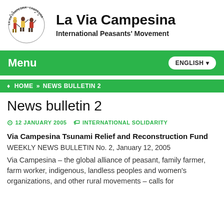[Figure (logo): La Via Campesina logo showing three figures walking/marching with farming tools, surrounded by circular text 'LA VIA CAMPESINA' and 'CAMPESINA']
La Via Campesina
International Peasants' Movement
Menu  ENGLISH
HOME » NEWS BULLETIN 2
News bulletin 2
12 JANUARY 2005   INTERNATIONAL SOLIDARITY
Via Campesina Tsunami Relief and Reconstruction Fund
WEEKLY NEWS BULLETIN No. 2, January 12, 2005
Via Campesina – the global alliance of peasant, family farmer, farm worker, indigenous, landless peoples and women's organizations, and other rural movements – calls for